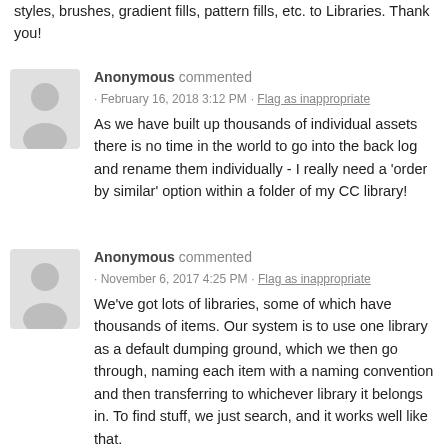styles, brushes, gradient fills, pattern fills, etc. to Libraries. Thank you!
Anonymous commented
· February 16, 2018 3:12 PM · Flag as inappropriate
As we have built up thousands of individual assets there is no time in the world to go into the back log and rename them individually - I really need a 'order by similar' option within a folder of my CC library!
Anonymous commented
· November 6, 2017 4:25 PM · Flag as inappropriate
We've got lots of libraries, some of which have thousands of items. Our system is to use one library as a default dumping ground, which we then go through, naming each item with a naming convention and then transferring to whichever library it belongs in. To find stuff, we just search, and it works well like that.

What's more annoying is that there's convenient way to get